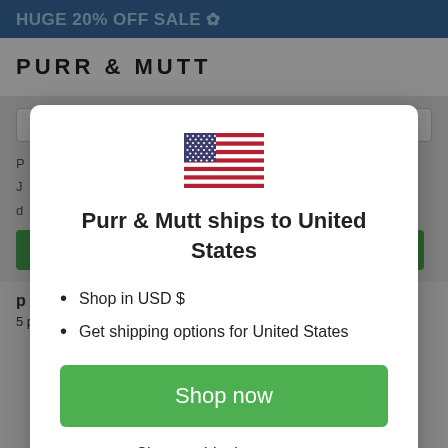HUGE 20% OFF SALE
[Figure (screenshot): Background website page with logo bar and content partially visible behind modal overlay]
[Figure (illustration): US flag emoji/icon centered at top of modal]
Purr & Mutt ships to United States
Shop in USD $
Get shipping options for United States
Shop now
Change shipping country
5 people have this in their baskets right now.